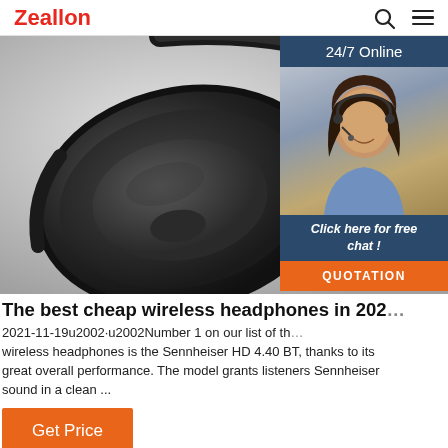Zeallon
[Figure (photo): Close-up photo of black over-ear headphones (Sennheiser HD 4.40 BT style) on white background, with a customer service chat widget overlay showing a woman wearing a headset, a '24/7 Online' banner, 'Click here for free chat!' text, and an orange QUOTATION button.]
The best cheap wireless headphones in 202...
2021-11-19u2002·u2002Number 1 on our list of the best cheap wireless headphones is the Sennheiser HD 4.40 BT, thanks to its great overall performance. The model grants listeners Sennheiser sound in a clean ...
Get Price